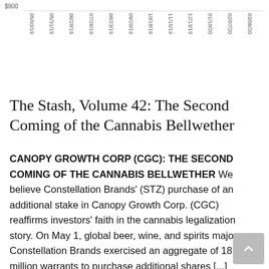[Figure (continuous-plot): Partial top of a line chart showing a stock price chart with x-axis date labels from 05/03/19 to 03/06/20, and a y-axis label of $900 visible at top left. Only the top portion of the chart is visible.]
The Stash, Volume 42: The Second Coming of the Cannabis Bellwether
CANOPY GROWTH CORP (CGC): THE SECOND COMING OF THE CANNABIS BELLWETHER We believe Constellation Brands' (STZ) purchase of an additional stake in Canopy Growth Corp. (CGC) reaffirms investors' faith in the cannabis legalization story. On May 1, global beer, wine, and spirits major Constellation Brands exercised an aggregate of 18.8 million warrants to purchase additional shares [...]